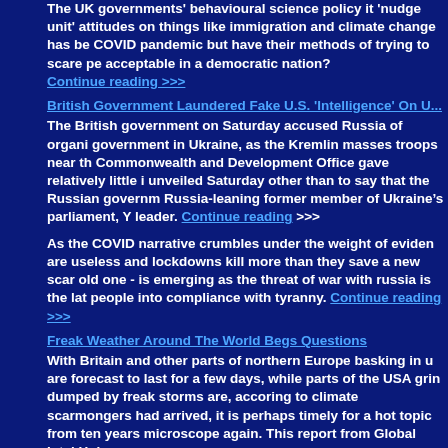The UK governments' behavioural science policy it 'nudge unit' attitudes on things like immigration and climate change has been COVID pandemic but have their methods of trying to scare people acceptable in a democratic nation? Continue reading >>>
British Government Laundered Fake U.S. 'Intelligence' On U...
The British government on Saturday accused Russia of organising a government in Ukraine, as the Kremlin masses troops near the Commonwealth and Development Office gave relatively little info unveiled Saturday other than to say that the Russian government Russia-leaning former member of Ukraine's parliament, Y... leader. Continue reading >>>
As the COVID narrative crumbles under the weight of evidence are useless and lockdowns kill more than they save a new scare - old one - is emerging as the threat of war with russia is the latest people into compliance with tyranny. Continue reading >>>
Freak Weather Around The World Begs Questions
With Britain and other parts of northern Europe basking in un are forecast to last for a few days, while parts of the USA grind dumped by freak storms are, accoring to climate scarmongers had arrived, it is perhaps timely for a hot topic from ten years microscope again. This report from Global Intel Hub seems a